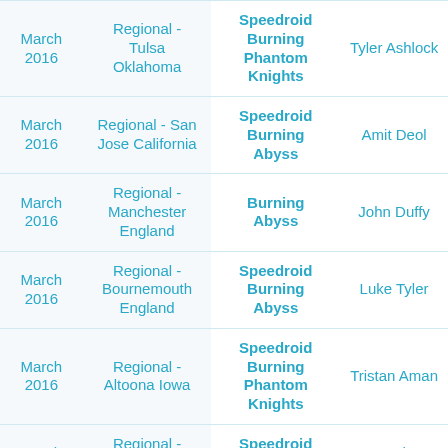| Date | Event | Deck | Player |
| --- | --- | --- | --- |
| March 2016 | Regional - Tulsa Oklahoma | Speedroid Burning Phantom Knights | Tyler Ashlock |
| March 2016 | Regional - San Jose California | Speedroid Burning Abyss | Amit Deol |
| March 2016 | Regional - Manchester England | Burning Abyss | John Duffy |
| March 2016 | Regional - Bournemouth England | Speedroid Burning Abyss | Luke Tyler |
| March 2016 | Regional - Altoona Iowa | Speedroid Burning Phantom Knights | Tristan Aman |
| March 2016 | Regional - London England | Speedroid Burning Abyss | Zach Bloundele |